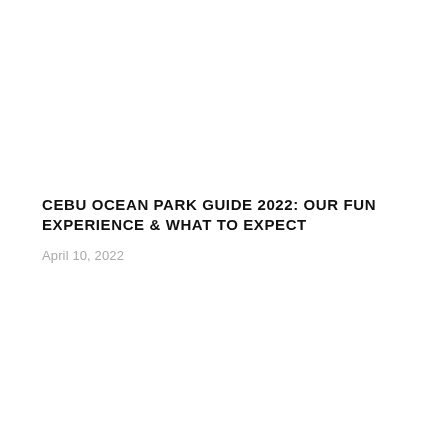CEBU OCEAN PARK GUIDE 2022: OUR FUN EXPERIENCE & WHAT TO EXPECT
April 10, 2022